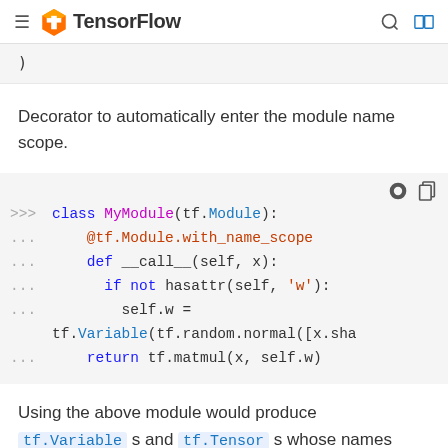TensorFlow
)
Decorator to automatically enter the module name scope.
[Figure (screenshot): Code block showing a Python class MyModule(tf.Module) with @tf.Module.with_name_scope decorator and __call__ method]
Using the above module would produce tf.Variable s and tf.Tensor s whose names included the module name: